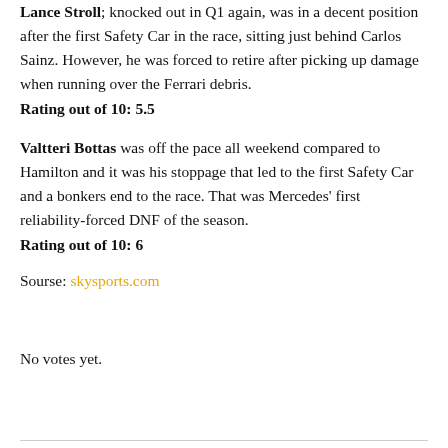Lance Stroll; knocked out in Q1 again, was in a decent position after the first Safety Car in the race, sitting just behind Carlos Sainz. However, he was forced to retire after picking up damage when running over the Ferrari debris.
Rating out of 10: 5.5
Valtteri Bottas was off the pace all weekend compared to Hamilton and it was his stoppage that led to the first Safety Car and a bonkers end to the race. That was Mercedes' first reliability-forced DNF of the season.
Rating out of 10: 6
Sourse: skysports.com
No votes yet.